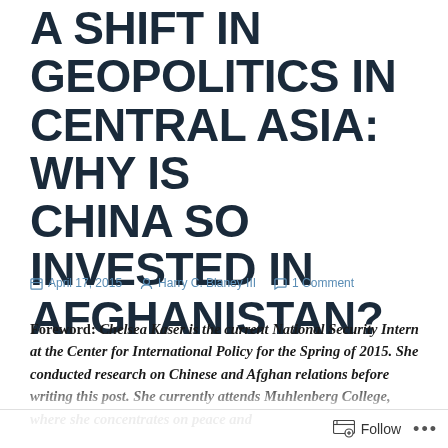A SHIFT IN GEOPOLITICS IN CENTRAL ASIA: WHY IS CHINA SO INVESTED IN AFGHANISTAN?
April 17, 2015   Harry C. Blaney III   1 Comment
Foreword: Chelsea Kaser is the current National Security Intern at the Center for International Policy for the Spring of 2015. She conducted research on Chinese and Afghan relations before writing this post. She currently attends Muhlenberg College, where she concentrates on peace and
Follow